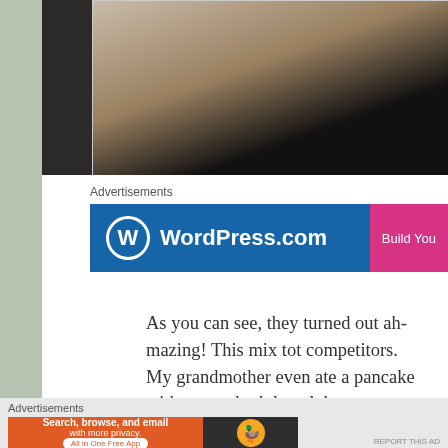[Figure (photo): Partial photo of a person holding something, dark clothing visible against a light background, cropped at top of page]
Advertisements
[Figure (other): WordPress.com advertisement banner with blue background, WordPress logo and 'Build You' button in pink]
As you can see, they turned out ah-mazing! This mix tot competitors. My grandmother even ate a pancake witho mom both loved the texture and the smooth flavor. Ano was that all you add is water. So, if you don't have eggs, jazz, you can still make these.
Advertisements
[Figure (other): DuckDuckGo advertisement: orange section reading 'Search, browse, and email with more privacy. All in One Free App' and dark section with DuckDuckGo duck logo]